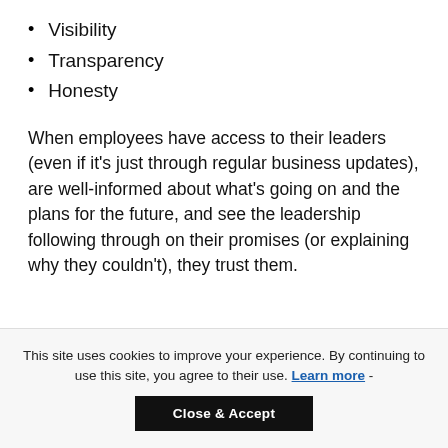Visibility
Transparency
Honesty
When employees have access to their leaders (even if it’s just through regular business updates), are well-informed about what’s going on and the plans for the future, and see the leadership following through on their promises (or explaining why they couldn’t), they trust them.
This site uses cookies to improve your experience. By continuing to use this site, you agree to their use. Learn more -